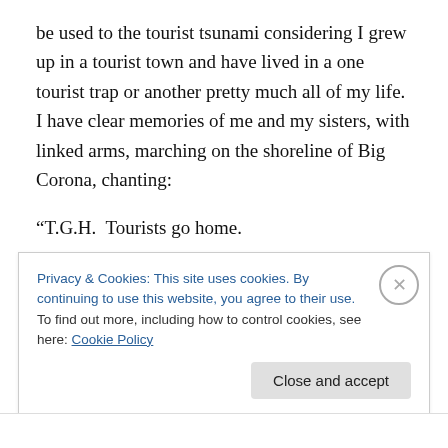be used to the tourist tsunami considering I grew up in a tourist town and have lived in a one tourist trap or another pretty much all of my life.  I have clear memories of me and my sisters, with linked arms, marching on the shoreline of Big Corona, chanting:
“T.G.H.  Tourists go home.

T.G.H.  Tourists go home. ”
They didn’t.  But we knew something the visitors did not. If Big Corona was so crowded that we could barely find a
Privacy & Cookies: This site uses cookies. By continuing to use this website, you agree to their use.
To find out more, including how to control cookies, see here: Cookie Policy
Close and accept